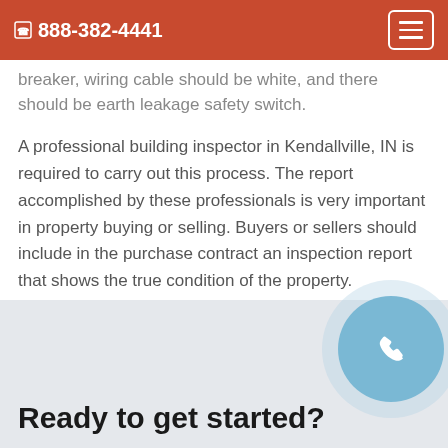888-382-4441
breaker, wiring cable should be white, and there should be earth leakage safety switch.
A professional building inspector in Kendallville, IN is required to carry out this process. The report accomplished by these professionals is very important in property buying or selling. Buyers or sellers should include in the purchase contract an inspection report that shows the true condition of the property.
Ready to get started?